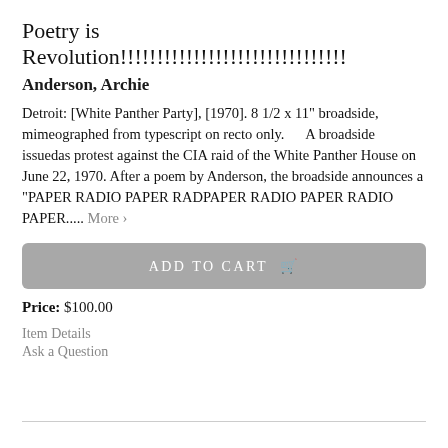Poetry is Revolution!!!!!!!!!!!!!!!!!!!!!!!!!!!!!!!
Anderson, Archie
Detroit: [White Panther Party], [1970]. 8 1/2 x 11" broadside, mimeographed from typescript on recto only.      A broadside issuedas protest against the CIA raid of the White Panther House on June 22, 1970. After a poem by Anderson, the broadside announces a "PAPER RADIO PAPER RADPAPER RADIO PAPER RADIO PAPER..... More ›
ADD TO CART
Price: $100.00
Item Details
Ask a Question